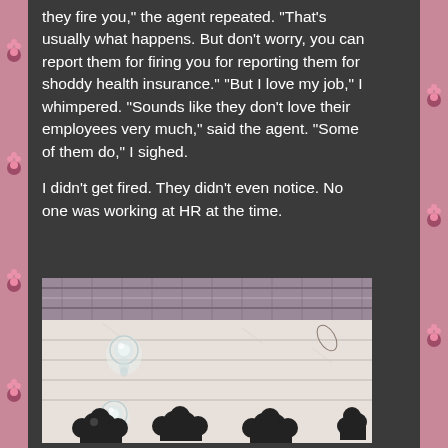they fire you," the agent repeated. "That's usually what happens. But don't worry, you can report them for firing you for reporting them for shoddy health insurance." "But I love my job," I whimpered. "Sounds like they don't love their employees very much," said the agent. "Some of them do," I sighed.

I didn't get fired. They didn't even notice. No one was working at HR at the time.
[Figure (photo): Close-up photograph of a white wooden surface with transparent glass/acrylic push pins or drawer knobs, with decorative black and white floral/cloud pattern stickers or cutouts at the bottom.]